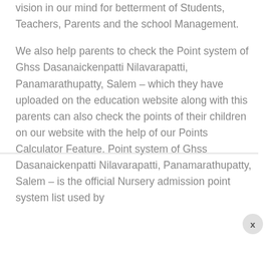vision in our mind for betterment of Students, Teachers, Parents and the school Management.
We also help parents to check the Point system of Ghss Dasanaickenpatti Nilavarapatti, Panamarathupatty, Salem – which they have uploaded on the education website along with this parents can also check the points of their children on our website with the help of our Points Calculator Feature. Point system of Ghss Dasanaickenpatti Nilavarapatti, Panamarathupatty, Salem – is the official Nursery admission point system list used by